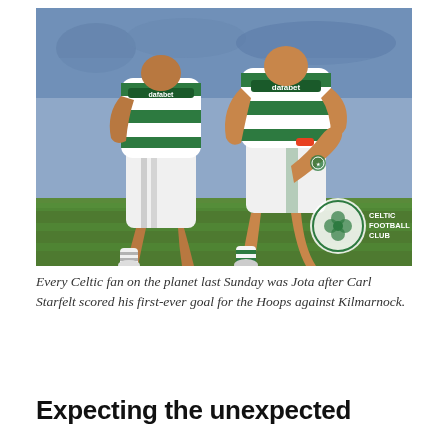[Figure (photo): Two Celtic FC football players in green and white hooped jerseys with 'dafabet' sponsor running on a football pitch. One player is doing a celebratory kick-up move. A Celtic FC club crest watermark is visible in the bottom-right corner of the image.]
Every Celtic fan on the planet last Sunday was Jota after Carl Starfelt scored his first-ever goal for the Hoops against Kilmarnock.
Expecting the unexpected